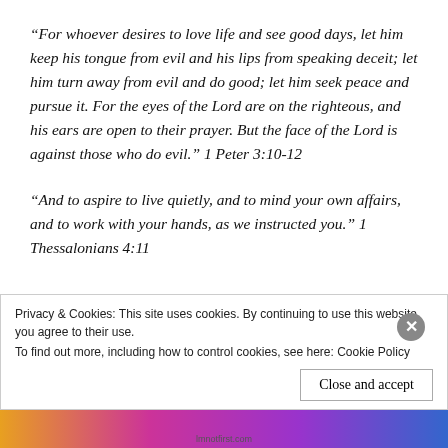“For whoever desires to love life and see good days, let him keep his tongue from evil and his lips from speaking deceit; let him turn away from evil and do good; let him seek peace and pursue it. For the eyes of the Lord are on the righteous, and his ears are open to their prayer. But the face of the Lord is against those who do evil.” 1 Peter 3:10-12
“And to aspire to live quietly, and to mind your own affairs, and to work with your hands, as we instructed you.” 1 Thessalonians 4:11
Privacy & Cookies: This site uses cookies. By continuing to use this website, you agree to their use.
To find out more, including how to control cookies, see here: Cookie Policy
Close and accept